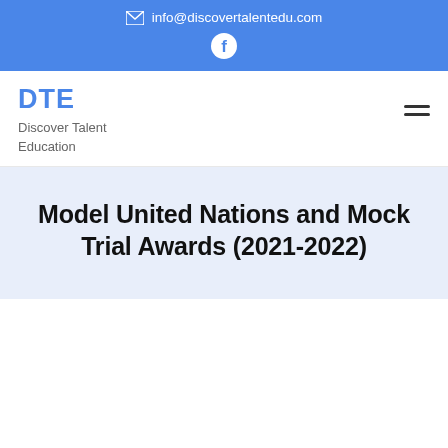info@discovertalentedu.com
DTE
Discover Talent Education
Model United Nations and Mock Trial Awards (2021-2022)